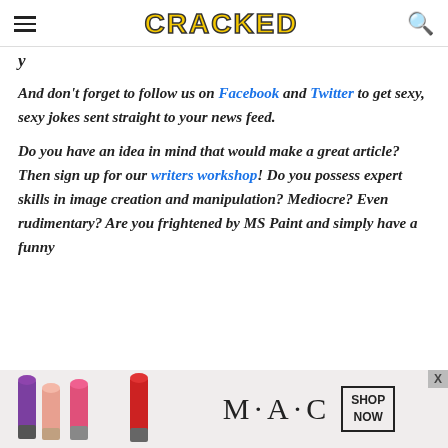CRACKED
y
And don't forget to follow us on Facebook and Twitter to get sexy, sexy jokes sent straight to your news feed.
Do you have an idea in mind that would make a great article? Then sign up for our writers workshop! Do you possess expert skills in image creation and manipulation? Mediocre? Even rudimentary? Are you frightened by MS Paint and simply have a funny
[Figure (photo): MAC cosmetics advertisement banner showing lipsticks (purple, pink, coral) with MAC logo and SHOP NOW button]